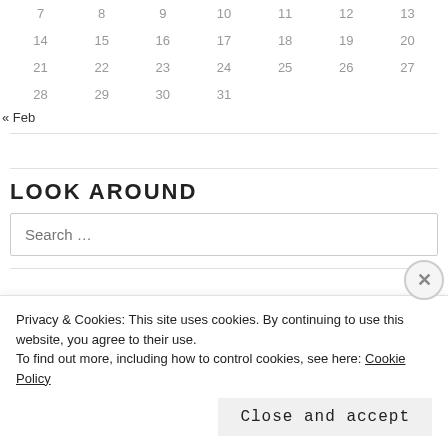| 7 | 8 | 9 | 10 | 11 | 12 | 13 |
| 14 | 15 | 16 | 17 | 18 | 19 | 20 |
| 21 | 22 | 23 | 24 | 25 | 26 | 27 |
| 28 | 29 | 30 | 31 |  |  |  |
« Feb
LOOK AROUND
Search …
LATELY
Privacy & Cookies: This site uses cookies. By continuing to use this website, you agree to their use.
To find out more, including how to control cookies, see here: Cookie Policy
Close and accept